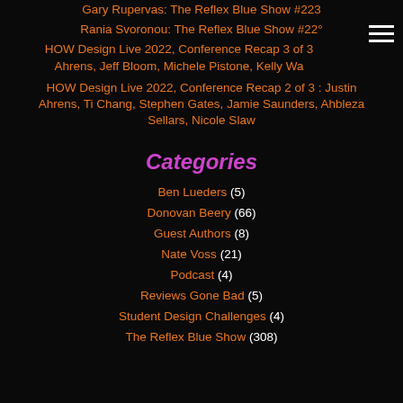Gary Rupervas: The Reflex Blue Show #223
Rania Svoronou: The Reflex Blue Show #220
HOW Design Live 2022, Conference Recap 3 of 3 Ahrens, Jeff Bloom, Michele Pistone, Kelly Wa
HOW Design Live 2022, Conference Recap 2 of 3 : Justin Ahrens, Ti Chang, Stephen Gates, Jamie Saunders, Ahbleza Sellars, Nicole Slaw
Categories
Ben Lueders (5)
Donovan Beery (66)
Guest Authors (8)
Nate Voss (21)
Podcast (4)
Reviews Gone Bad (5)
Student Design Challenges (4)
The Reflex Blue Show (308)